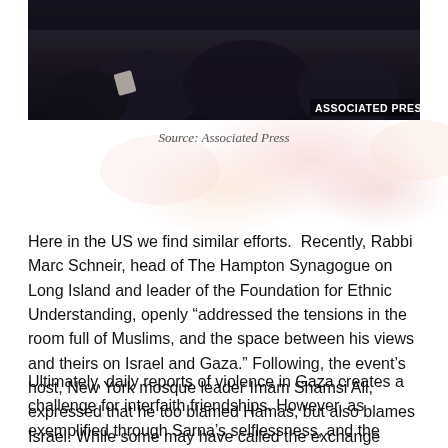[Figure (photo): Dark photograph showing people, partially visible, with Associated Press credit in bottom right corner]
Source: Associated Press
Here in the US we find similar efforts.  Recently, Rabbi Marc Schneir, head of The Hampton Synagogue on Long Island and leader of the Foundation for Ethnic Understanding, openly “addressed the tensions in the room full of Muslims, and the space between his views and theirs on Israel and Gaza.” Following, the event’s host, New York mosque leader Imam Shamsi Ali, expressed that he too blamed Hamas, but also blames Israel. While some may have called the exchange uncomfortable, Ali begged to differ by affirming, “we can’t be hijacked by our emotions. We can’t throw fire on fire.”
Ultimately, daily reports of violence in Gaza creates a challenge for interfaith friendships. However, as exemplified through Sarna’s selflessness, and the Schneir-Ali friendship, when Jewish and Muslim leaders are able to recognize the beauty in their differences, they create truly